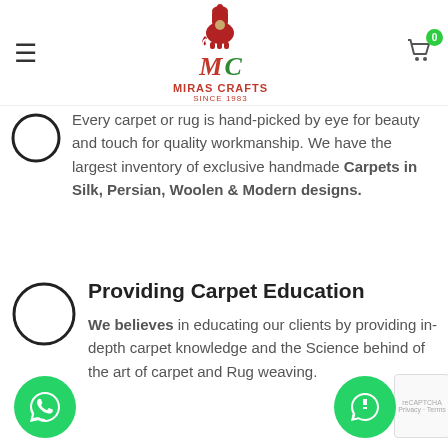Miras Crafts - Since 1983
Every carpet or rug is hand-picked by eye for beauty and touch for quality workmanship. We have the largest inventory of exclusive handmade Carpets in Silk, Persian, Woolen & Modern designs.
Providing Carpet Education
We believes in educating our clients by providing in-depth carpet knowledge and the Science behind of the art of carpet and Rug weaving.